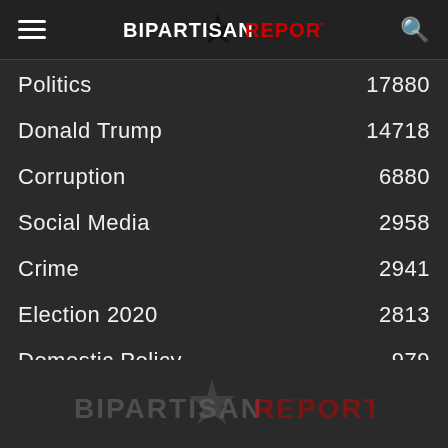BIPARTISAN REPORT
Politics 17880
Donald Trump 14718
Corruption 6880
Social Media 2958
Crime 2941
Election 2020 2813
Domestic Policy 979
Impeachment 971
BIPARTISAN REPORT